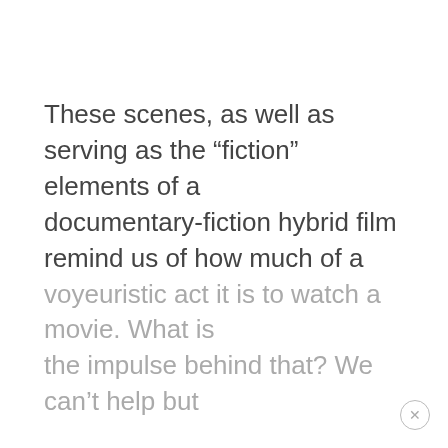These scenes, as well as serving as the “fiction” elements of a documentary-fiction hybrid film remind us of how much of a voyeuristic act it is to watch a movie. What is the impulse behind that? We can’t help but